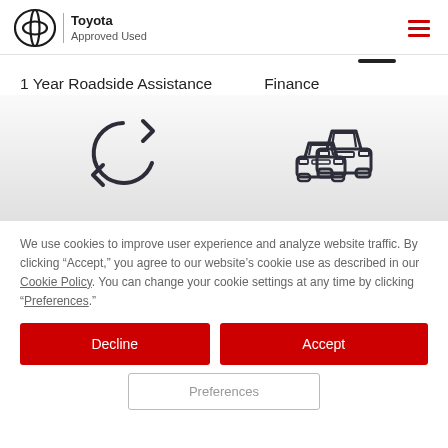[Figure (logo): Toyota Approved Used logo with Toyota oval emblem and text]
[Figure (infographic): Hamburger menu icon (three horizontal red lines)]
[Figure (infographic): Horizontal slider progress bar indicator (dark line)]
1 Year Roadside Assistance
Finance
[Figure (illustration): Circular arrows refresh/roadside assistance icon]
[Figure (illustration): Two cars front view icon for Finance]
We use cookies to improve user experience and analyze website traffic. By clicking “Accept,” you agree to our website’s cookie use as described in our Cookie Policy. You can change your cookie settings at any time by clicking “Preferences.”
Decline
Accept
Preferences